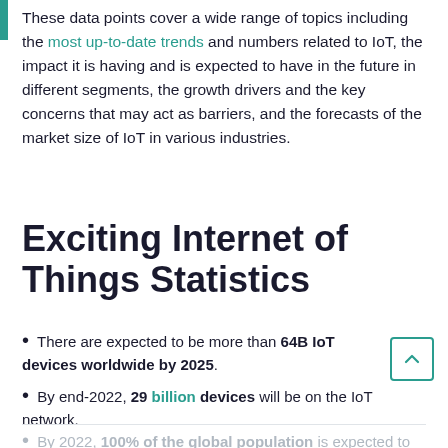These data points cover a wide range of topics including the most up-to-date trends and numbers related to IoT, the impact it is having and is expected to have in the future in different segments, the growth drivers and the key concerns that may act as barriers, and the forecasts of the market size of IoT in various industries.
Exciting Internet of Things Statistics
There are expected to be more than 64B IoT devices worldwide by 2025.
By end-2022, 29 billion devices will be on the IoT network.
By 2022, 100% of the global population is expected to have LPWAN coverage.